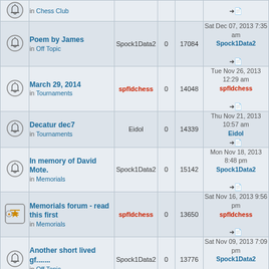|  | Topic | Author | Replies | Views | Last post |
| --- | --- | --- | --- | --- | --- |
| [bell] | Poem by James
in Off Topic | Spock1Data2 | 0 | 17084 | Sat Dec 07, 2013 7:35 am
Spock1Data2 |
| [bell] | March 29, 2014
in Tournaments | spfldchess | 0 | 14048 | Tue Nov 26, 2013 12:29 am
spfldchess |
| [bell] | Decatur dec7
in Tournaments | Eidol | 0 | 14339 | Thu Nov 21, 2013 10:57 am
Eidol |
| [bell] | In memory of David Mote.
in Memorials | Spock1Data2 | 0 | 15142 | Mon Nov 18, 2013 8:48 pm
Spock1Data2 |
| [announce] | Memorials forum - read this first
in Memorials | spfldchess | 0 | 13650 | Sat Nov 16, 2013 9:56 pm
spfldchess |
| [bell] | Another short lived gf.......
in Off Topic | Spock1Data2 | 0 | 13776 | Sat Nov 09, 2013 7:09 pm
Spock1Data2 |
| [bell] | Special meeting October 30
in Chess Club | spfldchess | 0 | 13356 | Sun Oct 27, 2013 1:08 pm
spfldchess |